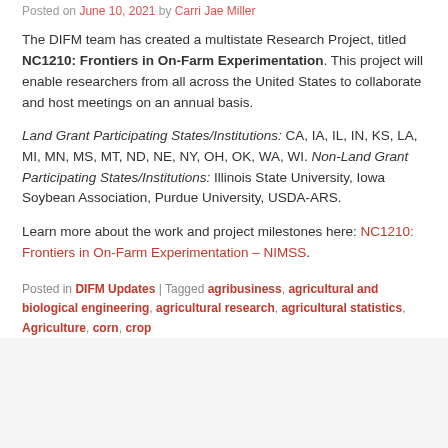Posted on June 10, 2021 by Carri Jae Miller
The DIFM team has created a multistate Research Project, titled NC1210: Frontiers in On-Farm Experimentation. This project will enable researchers from all across the United States to collaborate and host meetings on an annual basis.
Land Grant Participating States/Institutions: CA, IA, IL, IN, KS, LA, MI, MN, MS, MT, ND, NE, NY, OH, OK, WA, WI. Non-Land Grant Participating States/Institutions: Illinois State University, Iowa Soybean Association, Purdue University, USDA-ARS.
Learn more about the work and project milestones here: NC1210: Frontiers in On-Farm Experimentation – NIMSS.
Posted in DIFM Updates | Tagged agribusiness, agricultural and biological engineering, agricultural research, agricultural statistics, Agriculture, corn, crop